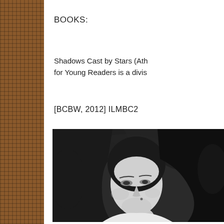BOOKS:
Shadows Cast by Stars (Ath for Young Readers is a divis
[BCBW, 2012] ILMBC2
[Figure (photo): Black and white portrait photograph of a woman with long dark hair wearing a white top, with foliage in the background]